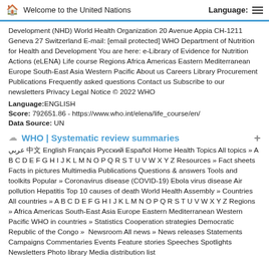Welcome to the United Nations   Language:
Development (NHD) World Health Organization 20 Avenue Appia CH-1211 Geneva 27 Switzerland E-mail: [email protected] WHO Department of Nutrition for Health and Development You are here: e-Library of Evidence for Nutrition Actions (eLENA) Life course Regions Africa Americas Eastern Mediterranean Europe South-East Asia Western Pacific About us Careers Library Procurement Publications Frequently asked questions Contact us Subscribe to our newsletters Privacy Legal Notice © 2022 WHO
Language:ENGLISH
Score: 792651.86 - https://www.who.int/elena/life_course/en/
Data Source: UN
WHO | Systematic review summaries
عربي 中文 English Français Русский Español Home Health Topics All topics » A B C D E F G H I J K L M N O P Q R S T U V W X Y Z Resources » Fact sheets Facts in pictures Multimedia Publications Questions & answers Tools and toolkits Popular » Coronavirus disease (COVID-19) Ebola virus disease Air pollution Hepatitis Top 10 causes of death World Health Assembly » Countries All countries » A B C D E F G H I J K L M N O P Q R S T U V W X Y Z Regions » Africa Americas South-East Asia Europe Eastern Mediterranean Western Pacific WHO in countries » Statistics Cooperation strategies Democratic Republic of the Congo »  Newsroom All news » News releases Statements Campaigns Commentaries Events Feature stories Speeches Spotlights Newsletters Photo library Media distribution list